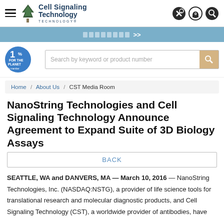Cell Signaling Technology
▓▓▓▓▓▓▓▓ >>
[Figure (logo): 1% For the Planet logo]
Search by keyword or product number
Home / About Us / CST Media Room
NanoString Technologies and Cell Signaling Technology Announce Agreement to Expand Suite of 3D Biology Assays
BACK
SEATTLE, WA and DANVERS, MA — March 10, 2016 — NanoString Technologies, Inc. (NASDAQ:NSTG), a provider of life science tools for translational research and molecular diagnostic products, and Cell Signaling Technology (CST), a worldwide provider of antibodies, have